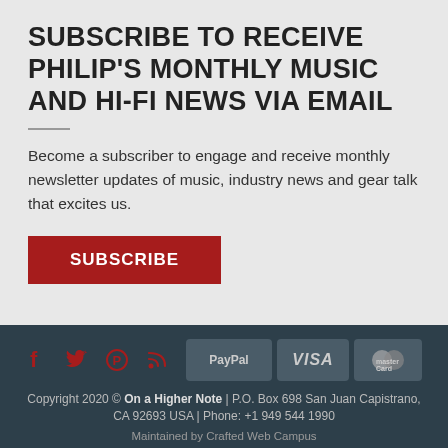SUBSCRIBE TO RECEIVE PHILIP'S MONTHLY MUSIC AND HI-FI NEWS VIA EMAIL
Become a subscriber to engage and receive monthly newsletter updates of music, industry news and gear talk that excites us.
SUBSCRIBE
[Figure (infographic): Social media icons (Facebook, Twitter, Pinterest, RSS) in dark red, and payment badges (PayPal, VISA, MasterCard) in dark grey rounded rectangles]
Copyright 2020 © On a Higher Note | P.O. Box 698 San Juan Capistrano, CA 92693 USA | Phone: +1 949 544 1990
Maintained by Crafted Web Campus